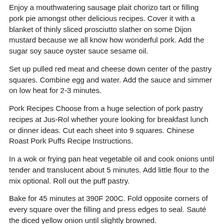Enjoy a mouthwatering sausage plait chorizo tart or filling pork pie amongst other delicious recipes. Cover it with a blanket of thinly sliced prosciutto slather on some Dijon mustard because we all know how wonderful pork. Add the sugar soy sauce oyster sauce sesame oil.
Set up pulled red meat and cheese down center of the pastry squares. Combine egg and water. Add the sauce and simmer on low heat for 2-3 minutes.
Pork Recipes Choose from a huge selection of pork pastry recipes at Jus-Rol whether youre looking for breakfast lunch or dinner ideas. Cut each sheet into 9 squares. Chinese Roast Pork Puffs Recipe Instructions.
In a wok or frying pan heat vegetable oil and cook onions until tender and translucent about 5 minutes. Add little flour to the mix optional. Roll out the puff pastry.
Bake for 45 minutes at 390F 200C. Fold opposite corners of every square over the filling and press edges to seal. Sauté the diced yellow onion until slightly browned.